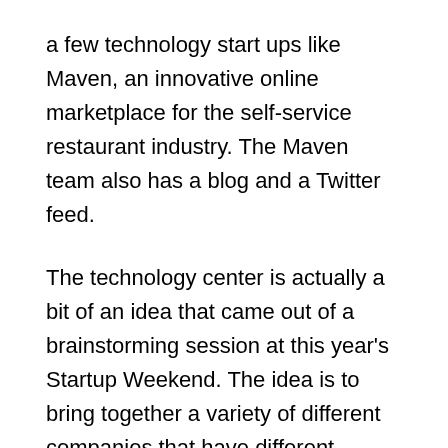a few technology start ups like Maven, an innovative online marketplace for the self-service restaurant industry. The Maven team also has a blog and a Twitter feed.
The technology center is actually a bit of an idea that came out of a brainstorming session at this year's Startup Weekend. The idea is to bring together a variety of different companies that have different business models and have different levels of success. That will include a few technology start ups like Maven, an innovative online marketplace for the self-service restaurant industry. The Maven team also has a blog and a Twitter feed.
The technology center is actually a bit of an idea that came out of a brainstorming session at this years Startup Weekend. The idea is to bring together a variety of different companies that have different business models and have